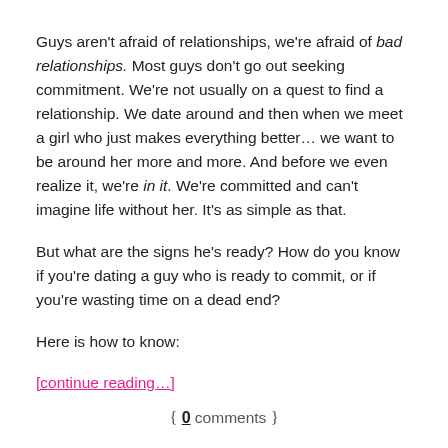Guys aren't afraid of relationships, we're afraid of bad relationships. Most guys don't go out seeking commitment. We're not usually on a quest to find a relationship. We date around and then when we meet a girl who just makes everything better… we want to be around her more and more. And before we even realize it, we're in it. We're committed and can't imagine life without her. It's as simple as that.
But what are the signs he's ready? How do you know if you're dating a guy who is ready to commit, or if you're wasting time on a dead end?
Here is how to know:
[continue reading…]
{ 0 comments }